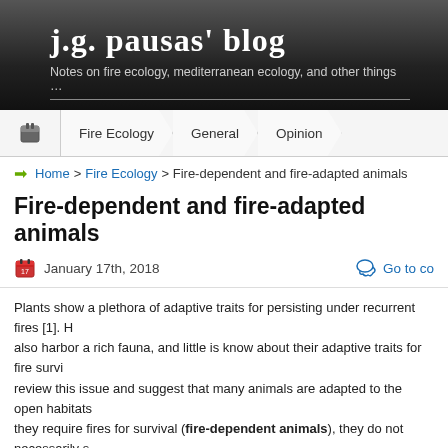j.g. pausas' blog — Notes on fire ecology, mediterranean ecology, and other things …
Fire Ecology | General | Opinion
Home > Fire Ecology > Fire-dependent and fire-adapted animals
Fire-dependent and fire-adapted animals
January 17th, 2018
Plants show a plethora of adaptive traits for persisting under recurrent fires [1]. H... also harbor a rich fauna, and little is know about their adaptive traits for fire survi... review this issue and suggest that many animals are adapted to the open habitat... they require fires for survival (fire-dependent animals), they do not necessarily s... adaptation to fire. However, these species would become very rare or even extino... generating their habitat. In addition, in some cases, animals from these fire-prone... adaptation (fire-adapted animals). Currently, there are few examples of morpho... animal kingdom (reviewed in [2]). In part this may simply reflect the low number c... look for fire adaptations. We propose that there remains significant scope for rese... animals, and especially in relation to the rich behavioral traits that allow persiste... This is because, in contrast to plants, most animals are unitary organisms with re... burnt by fire, but are mobile and can move away from the fire. That is, behaviora...